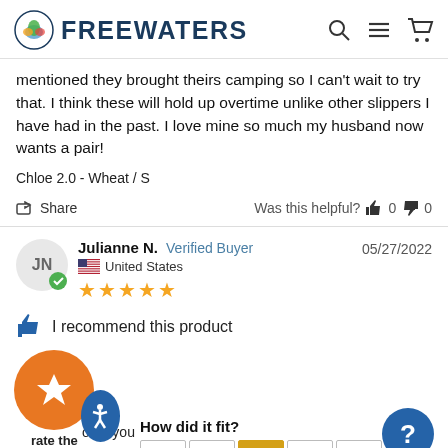FREEWATERS
mentioned they brought theirs camping so I can't wait to try that. I think these will hold up overtime unlike other slippers I have had in the past. I love mine so much my husband now wants a pair!
Chloe 2.0 - Wheat / S
Share   Was this helpful?  👍 0  👎 0
Julianne N.  Verified Buyer  05/27/2022  United States  ★★★★★
I recommend this product
ould you rate the comfort?   How did it fit?